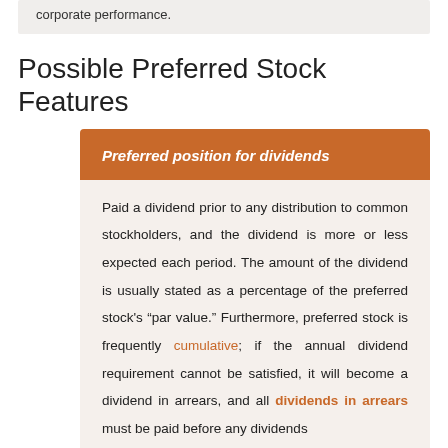corporate performance.
Possible Preferred Stock Features
Preferred position for dividends
Paid a dividend prior to any distribution to common stockholders, and the dividend is more or less expected each period. The amount of the dividend is usually stated as a percentage of the preferred stock's “par value.” Furthermore, preferred stock is frequently cumulative; if the annual dividend requirement cannot be satisfied, it will become a dividend in arrears, and all dividends in arrears must be paid before any dividends